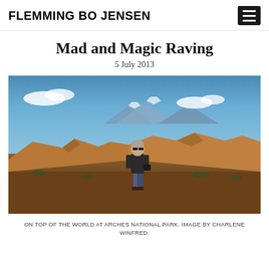FLEMMING BO JENSEN
Mad and Magic Raving
5 July 2013
[Figure (photo): A person standing on top of red sandstone rocks at Arches National Park, with a blue sky, white clouds, and snow-capped mountains visible in the background. Desert scrub and more rock formations surround the person who is wearing a dark jacket and jeans.]
ON TOP OF THE WORLD AT ARCHES NATIONAL PARK. IMAGE BY CHARLENE WINFRED.